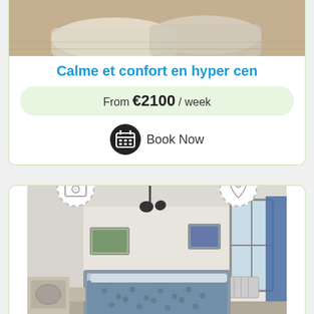[Figure (photo): Partial view of a room with bedding, top portion of image cropped]
Calme et confort en hyper cen
From €2100 / week
Book Now
[Figure (photo): Studio apartment bedroom with a double bed with patterned duvet, white walls with two small landscape pictures, blue curtains by a window, ceiling spotlight, and partial view of kitchenette]
Studio LECOURBE 15Km